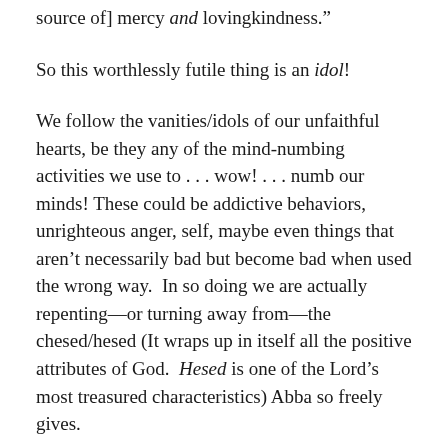source of] mercy and lovingkindness."
So this worthlessly futile thing is an idol!
We follow the vanities/idols of our unfaithful hearts, be they any of the mind-numbing activities we use to . . . wow! . . . numb our minds! These could be addictive behaviors, unrighteous anger, self, maybe even things that aren’t necessarily bad but become bad when used the wrong way.  In so doing we are actually repenting—or turning away from—the chesed/hesed (It wraps up in itself all the positive attributes of God.  Hesed is one of the Lord’s most treasured characteristics) Abba so freely gives.